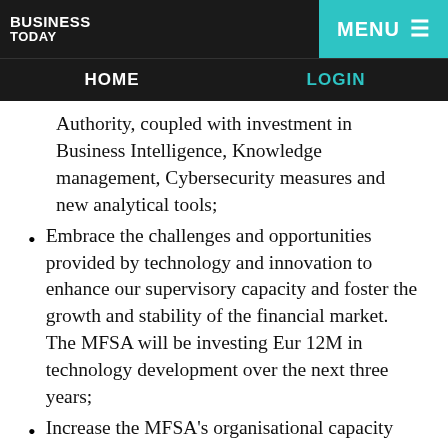BUSINESS TODAY | HOME | LOGIN | MENU
Authority, coupled with investment in Business Intelligence, Knowledge management, Cybersecurity measures and new analytical tools;
Embrace the challenges and opportunities provided by technology and innovation to enhance our supervisory capacity and foster the growth and stability of the financial market. The MFSA will be investing Eur 12M in technology development over the next three years;
Increase the MFSA’s organisational capacity